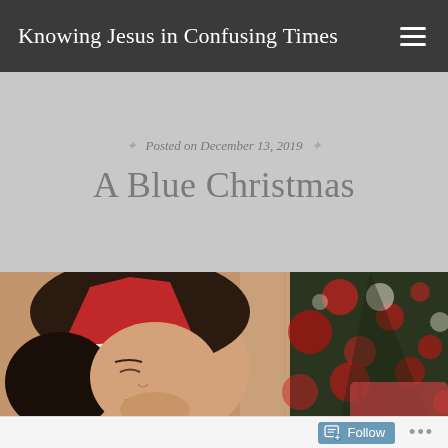Knowing Jesus in Confusing Times
Posted on December 13, 2019
A Blue Christmas
[Figure (photo): A young woman with dark hair wearing a red Santa hat, looking downward with a sad or pensive expression. In the blurred background, a Christmas tree with red and white bokeh lights is visible.]
Follow ...